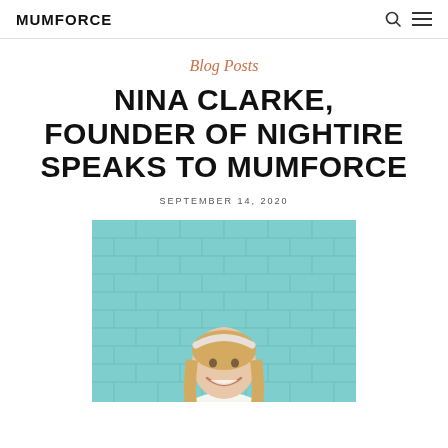MUMFORCE
Blog Posts
NINA CLARKE, FOUNDER OF NIGHTIRE SPEAKS TO MUMFORCE
SEPTEMBER 14, 2020
[Figure (photo): A smiling blonde woman standing in front of a teal/mint green brick wall, wearing a white outfit with a white headband.]